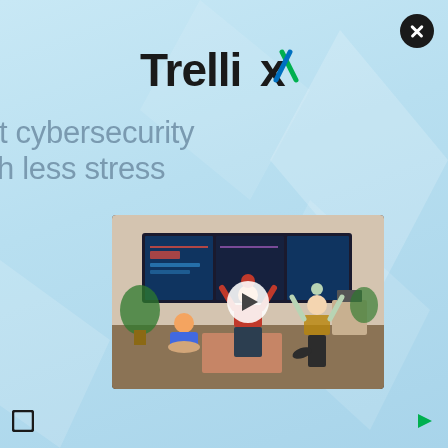[Figure (logo): Trellix logo with stylized checkmark in blue and green]
get cybersecurity with less stress
[Figure (photo): Video thumbnail showing three people doing yoga poses in a cybersecurity operations center with large screens displaying dashboards. A play button overlay is shown in the center.]
[Figure (other): Small square icon in bottom left corner]
[Figure (other): Small arrow/play icon in bottom right corner]